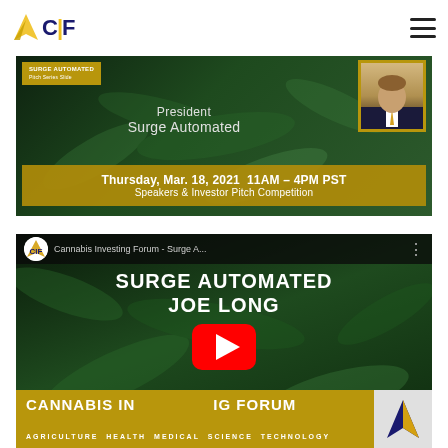CIF - Cannabis Investing Forum
[Figure (photo): Cannabis Investing Forum banner showing President Surge Automated speaker announcement for Thursday, Mar. 18, 2021 11AM - 4PM PST Speakers & Investor Pitch Competition, with cannabis leaf background and portrait photo]
[Figure (screenshot): YouTube video thumbnail for Cannabis Investing Forum - Surge Automated featuring Joe Long, with cannabis leaf background, SURGE AUTOMATED JOE LONG title text, CANNABIS INVESTING FORUM banner with AGRICULTURE HEALTH MEDICAL SCIENCE TECHNOLOGY categories, YouTube play button overlay, and CIF logo in top-left and bottom-right corners]